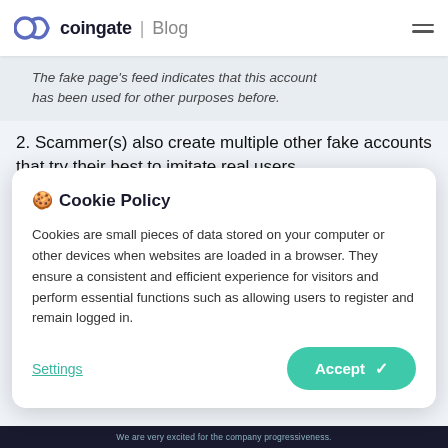CG coingate | Blog
The fake page's feed indicates that this account has been used for other purposes before.
2. Scammer(s) also create multiple other fake accounts that try their best to imitate real users.
🍪 Cookie Policy
Cookies are small pieces of data stored on your computer or other devices when websites are loaded in a browser. They ensure a consistent and efficient experience for visitors and perform essential functions such as allowing users to register and remain logged in.
Settings   Accept ✓